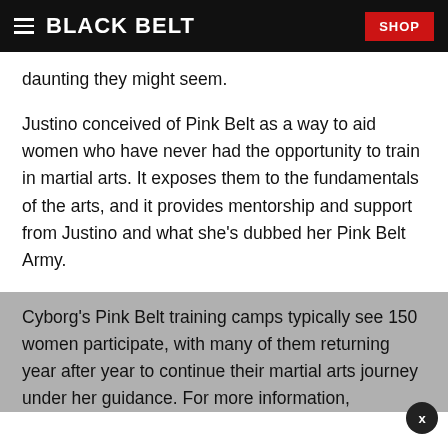BLACK BELT | SHOP
daunting they might seem.
Justino conceived of Pink Belt as a way to aid women who have never had the opportunity to train in martial arts. It exposes them to the fundamentals of the arts, and it provides mentorship and support from Justino and what she's dubbed her Pink Belt Army.
Cyborg's Pink Belt training camps typically see 150 women participate, with many of them returning year after year to continue their martial arts journey under her guidance. For more information,